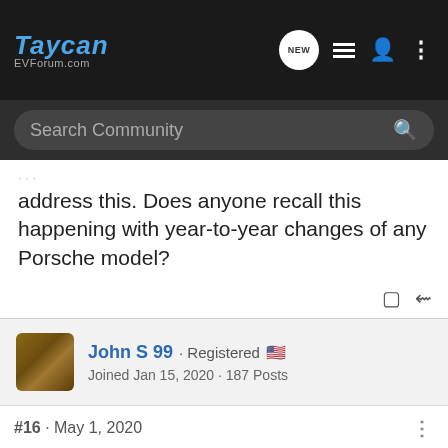Taycan EVForum.com
Search Community
address this. Does anyone recall this happening with year-to-year changes of any Porsche model?
John S 99 · Registered 🇺🇸
Joined Jan 15, 2020 · 187 Posts
#16 · May 1, 2020
Axiom said:
Its sad the Taycan's build quality is like this.

For $50,000 more than the Tesla Model S you would expect premium